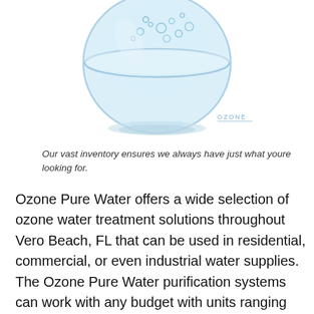[Figure (photo): A glass bowl filled with clear blue water and bubbles, viewed from slightly above on a white background, with an 'OZONE' logo watermark in the lower right area of the image.]
Our vast inventory ensures we always have just what youre looking for.
Ozone Pure Water offers a wide selection of ozone water treatment solutions throughout Vero Beach, FL that can be used in residential, commercial, or even industrial water supplies. The Ozone Pure Water purification systems can work with any budget with units ranging from point-of-entry purification to specific point-of-use purification directly from the faucet. Each of our treatment systems comes ready to use including all the parts you need to give you quick and immediate enjoyment of cleaner water. Additionally, we have an expansive inventory to ensure that the equipment you need is always available.